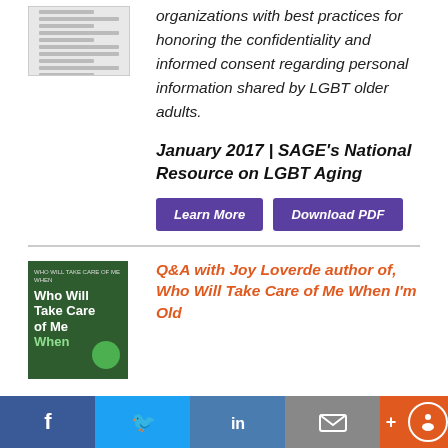[Figure (photo): Thumbnail image of a document page with lines of text]
organizations with best practices for honoring the confidentiality and informed consent regarding personal information shared by LGBT older adults.
January 2017 | SAGE's National Resource on LGBT Aging
Learn More | Download PDF
[Figure (photo): Book cover: Who Will Take Care of Me When I'm Old with green circle badge]
Q&A with Joy Loverde author of, Who Will Take Care of Me When I'm Old